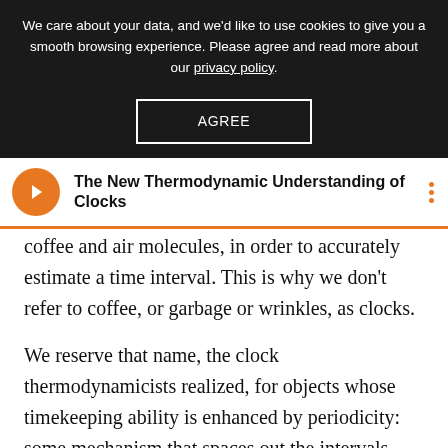We care about your data, and we'd like to use cookies to give you a smooth browsing experience. Please agree and read more about our privacy policy.
AGREE
The New Thermodynamic Understanding of Clocks
coffee and air molecules, in order to accurately estimate a time interval. This is why we don't refer to coffee, or garbage or wrinkles, as clocks.
We reserve that name, the clock thermodynamicists realized, for objects whose timekeeping ability is enhanced by periodicity: some mechanism that spaces out the intervals between the moments when irreversible processes